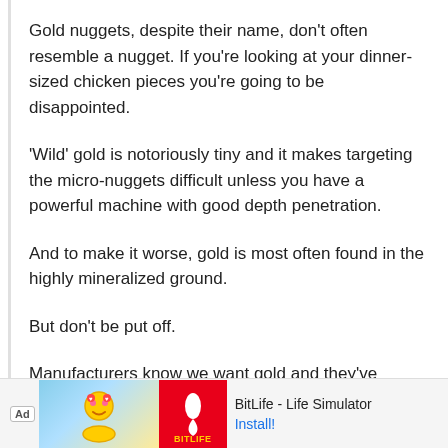Gold nuggets, despite their name, don't often resemble a nugget. If you're looking at your dinner-sized chicken pieces you're going to be disappointed.
'Wild' gold is notoriously tiny and it makes targeting the micro-nuggets difficult unless you have a powerful machine with good depth penetration.
And to make it worse, gold is most often found in the highly mineralized ground.
But don't be put off.
Manufacturers know we want gold and they've produced machines capable of handling the dif...
[Figure (screenshot): Advertisement banner at bottom of page: Ad label, BitLife - Life Simulator app advertisement with Install button]